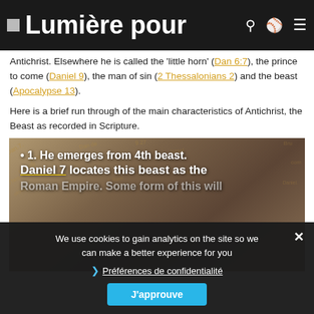Lumière pour
Antichrist. Elsewhere he is called the 'little horn' (Dan 6:7), the prince to come (Daniel 9), the man of sin (2 Thessalonians 2) and the beast (Apocalypse 13).
Here is a brief run through of the main characteristics of Antichrist, the Beast as recorded in Scripture.
[Figure (photo): Background image of a map or text fragment collage with overlaid bold white text reading: '• 1. He emerges from 4th beast. Daniel 7 locates this beast as the Roman Empire. Some form of this will...' with partial visible text about EU, possible candidates, world government, various initiatives to solve the...]
We use cookies to gain analytics on the site so we can make a better experience for you
Préférences de confidentialité
J'approuve